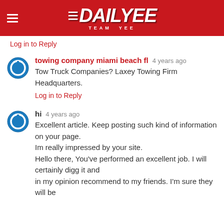DAILYEE TEAM YEE
Log in to Reply
towing company miami beach fl  4 years ago
Tow Truck Companies? Laxey Towing Firm Headquarters.
Log in to Reply
hi  4 years ago
Excellent article. Keep posting such kind of information on your page.
Im really impressed by your site.
Hello there, You've performed an excellent job. I will certainly digg it and
in my opinion recommend to my friends. I'm sure they will be